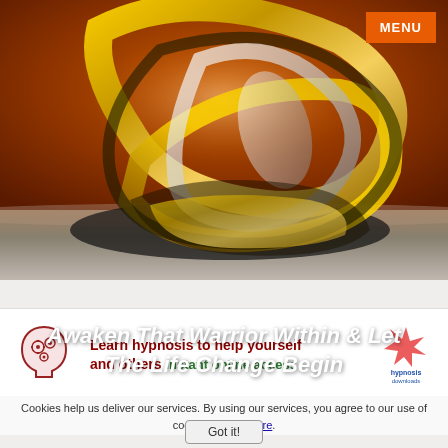[Figure (illustration): 3D golden spiral/knot sculpture on a warm orange-brown background with reflective metallic surfaces, horizon line visible below]
MENU
Awaken That Warrior Within & Let The Life Change Begin
[Figure (illustration): Head silhouette with gear/cog brain icon (hypnosis downloads branding)]
Learn hypnosis to help yourself and others   Instant online access
[Figure (logo): Hypnosis downloads logo with star icon]
Cookies help us deliver our services. By using our services, you agree to our use of cookies. Learn more.
Got it!